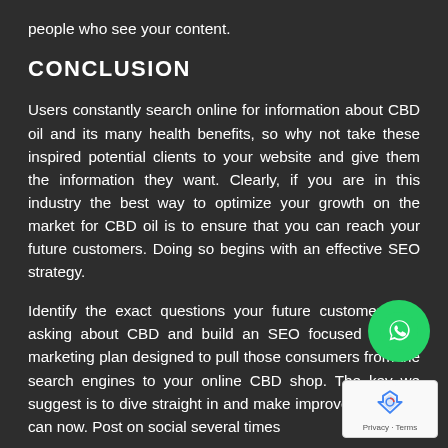people who see your content.
CONCLUSION
Users constantly search online for information about CBD oil and its many health benefits, so why not take these inspired potential clients to your website and give them the information they want. Clearly, if you are in this industry the best way to optimize your growth on the market for CBD oil is to ensure that you can reach your future customers. Doing so begins with an effective SEO strategy.
Identify the exact questions your future customers are asking about CBD and build an SEO focused content marketing plan designed to pull those consumers from the search engines to your online CBD shop. The key is we suggest is to dive straight in and make improvements you can now. Post on social several times
[Figure (logo): WhatsApp floating action button - green circle with WhatsApp phone icon]
[Figure (logo): Google reCAPTCHA badge with recycling-style logo and Privacy - Terms text]